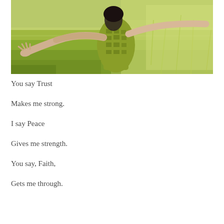[Figure (photo): A woman in a green patterned dress standing in a grassy field with arms outstretched to the sides, photographed from behind/side angle. Blurred green grass background.]
You say Trust
Makes me strong.
I say Peace
Gives me strength.
You say, Faith,
Gets me through.